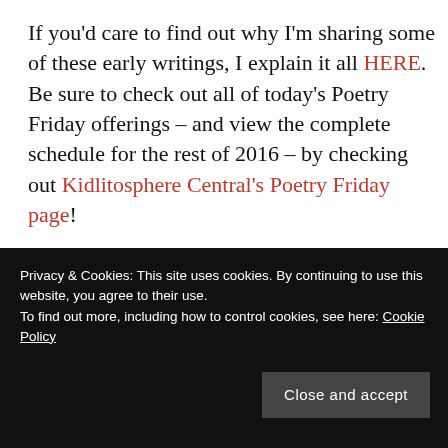If you'd care to find out why I'm sharing some of these early writings, I explain it all HERE. Be sure to check out all of today's Poetry Friday offerings – and view the complete schedule for the rest of 2016 – by checking out Kidlitosphere Central's Poetry Friday page!
=================================================
Did you like this post? Find something interesting elsewhere in this blog? I really won't mind at all if you
Privacy & Cookies: This site uses cookies. By continuing to use this website, you agree to their use.
To find out more, including how to control cookies, see here: Cookie Policy
Close and accept